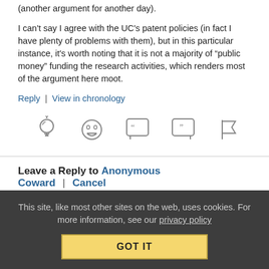(another argument for another day).
I can't say I agree with the UC's patent policies (in fact I have plenty of problems with them), but in this particular instance, it's worth noting that it is not a majority of “public money” funding the research activities, which renders most of the argument here moot.
Reply | View in chronology
[Figure (infographic): Row of five social interaction icons: lightbulb (insightful), laughing face (funny), open-quote speech bubble (agree), close-quote speech bubble (disagree), flag (report)]
Leave a Reply to Anonymous Coward | Cancel reply
This site, like most other sites on the web, uses cookies. For more information, see our privacy policy
GOT IT